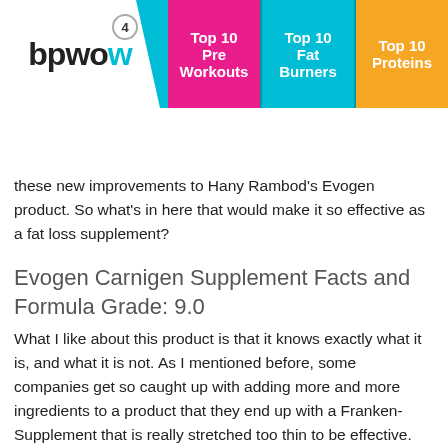bpwow4w — Top 10 Pre Workouts | Top 10 Fat Burners | Top 10 Proteins
these new improvements to Hany Rambod’s Evogen product. So what’s in here that would make it so effective as a fat loss supplement?
Evogen Carnigen Supplement Facts and Formula Grade: 9.0
What I like about this product is that it knows exactly what it is, and what it is not. As I mentioned before, some companies get so caught up with adding more and more ingredients to a product that they end up with a Franken-Supplement that is really stretched too thin to be effective. What I mean by that is, by the time they are done adding in ingredient after ingredient, the quantities of each one end up being too small to be effective at doing there job.
That’s not the case with Carnigen. This fat loss pre workout is just a tiny little scoop, but within that scoop is a strong dosage of pure Carnitine in four different forms. While I was